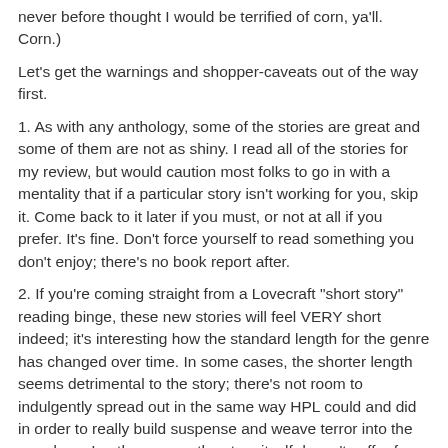never before thought I would be terrified of corn, ya'll. Corn.)
Let's get the warnings and shopper-caveats out of the way first.
1. As with any anthology, some of the stories are great and some of them are not as shiny. I read all of the stories for my review, but would caution most folks to go in with a mentality that if a particular story isn't working for you, skip it. Come back to it later if you must, or not at all if you prefer. It's fine. Don't force yourself to read something you don't enjoy; there's no book report after.
2. If you're coming straight from a Lovecraft "short story" reading binge, these new stories will feel VERY short indeed; it's interesting how the standard length for the genre has changed over time. In some cases, the shorter length seems detrimental to the story; there's not room to indulgently spread out in the same way HPL could and did in order to really build suspense and weave terror into the mundane. In other cases, the story itself doesn't suffer from its brevity but the reader may—"BUT WHAT HAPPENS NEXT!" was